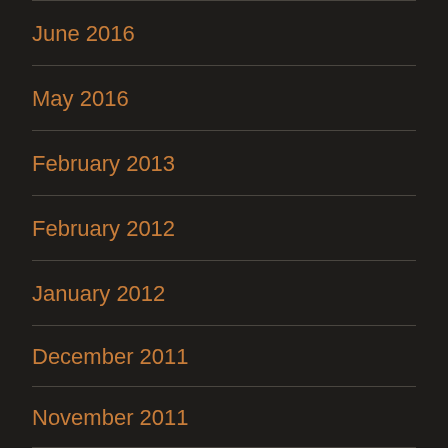June 2016
May 2016
February 2013
February 2012
January 2012
December 2011
November 2011
October 2011